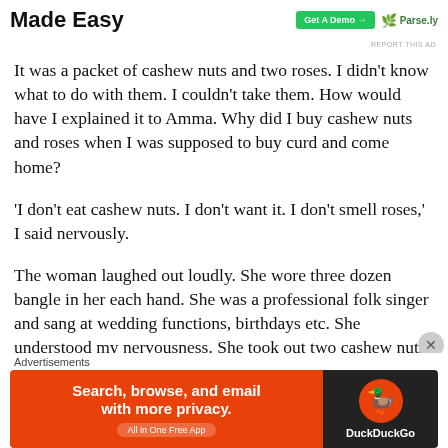Made Easy
It was a packet of cashew nuts and two roses. I didn't know what to do with them. I couldn't take them. How would have I explained it to Amma. Why did I buy cashew nuts and roses when I was supposed to buy curd and come home?
'I don't eat cashew nuts. I don't want it. I don't smell roses,' I said nervously.
The woman laughed out loudly. She wore three dozen bangle in her each hand. She was a professional folk singer and sang at wedding functions, birthdays etc. She understood my nervousness. She took out two cashew nuts out of the packet
Advertisements
[Figure (screenshot): DuckDuckGo advertisement banner: Search, browse, and email with more privacy. All in One Free App]